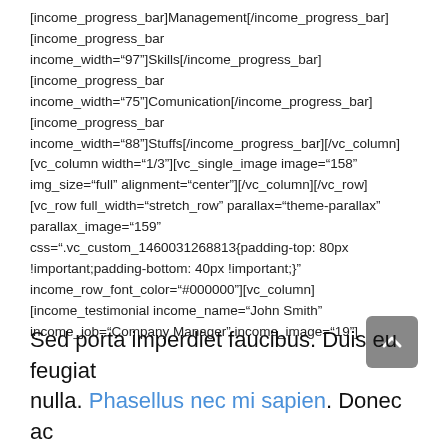[income_progress_bar]Management[/income_progress_bar] [income_progress_bar income_width="97"]Skills[/income_progress_bar] [income_progress_bar income_width="75"]Comunication[/income_progress_bar] [income_progress_bar income_width="88"]Stuffs[/income_progress_bar][/vc_column] [vc_column width="1/3"][vc_single_image image="158" img_size="full" alignment="center"][/vc_column][/vc_row] [vc_row full_width="stretch_row" parallax="theme-parallax" parallax_image="159" css=".vc_custom_1460031268813{padding-top: 80px !important;padding-bottom: 40px !important;}" income_row_font_color="#000000"][vc_column] [income_testimonial income_name="John Smith" income_job="Company Manager" income_image="19"]
Sed porta imperdiet faucibus. Duis eu feugiat nulla. Phasellus nec mi sapien. Donec ac